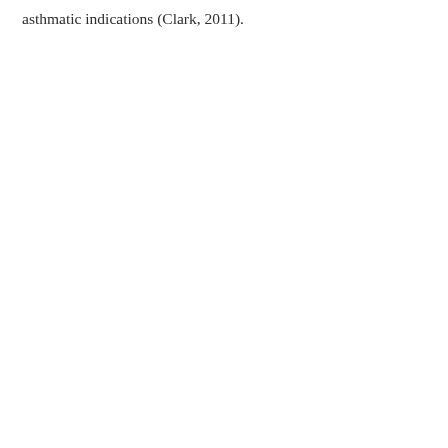asthmatic indications (Clark, 2011).